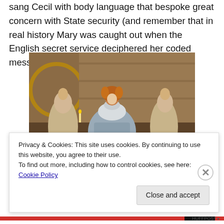sang Cecil with body language that bespoke great concern with State security (and remember that in real history Mary was caught out when the English secret service deciphered her coded messages).
[Figure (photo): A theatrical production photograph showing three actors in Elizabethan period costumes on stage. The central figure wears an elaborate silver-grey gown with a large ruff collar and has elaborate red/auburn hair. Two attendants flank her, wearing simpler period attire. The stage set features wooden and golden circular scenic elements in the background.]
Privacy & Cookies: This site uses cookies. By continuing to use this website, you agree to their use.
To find out more, including how to control cookies, see here: Cookie Policy
Close and accept